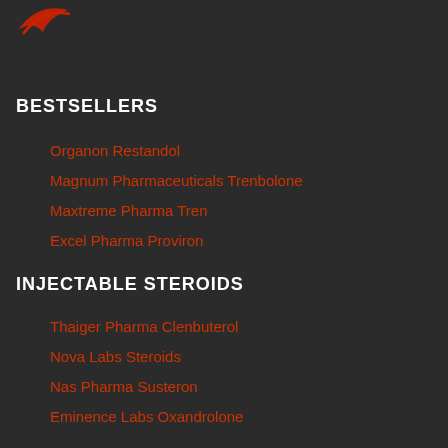[Figure (logo): Red curved logo mark in top left corner]
BESTSELLERS
Organon Restandol
Magnum Pharmaceuticals Trenbolone
Maxtreme Pharma Tren
Excel Pharma Proviron
INJECTABLE STEROIDS
Thaiger Pharma Clenbuterol
Nova Labs Steroids
Nas Pharma Susteron
Eminence Labs Oxandrolone
ORAL STEROIDS
Odin Pharma Bolde...